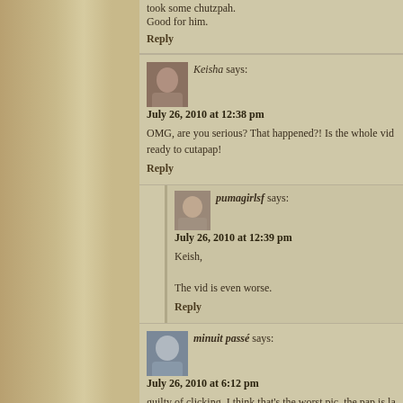took some chutzpah.
Good for him.
Reply
Keisha says:
July 26, 2010 at 12:38 pm
OMG, are you serious? That happened?! Is the whole vid... ready to cutapap!
Reply
pumagirlsf says:
July 26, 2010 at 12:39 pm
Keish,

The vid is even worse.
Reply
minuit passé says:
July 26, 2010 at 6:12 pm
guilty of clicking, I think that's the worst pic. the pap is la... waiting for a response, something he'd sell better than j... Rob.
Reply